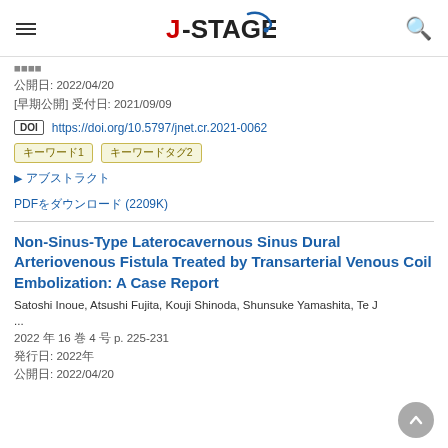J-STAGE
公開日: 2022/04/20
[早期公開] 受付日: 2021/09/09
DOI https://doi.org/10.5797/jnet.cr.2021-0062
キーワード タグ1 タグ2
▶ アブストラクト
PDFをダウンロード (2209K)
Non-Sinus-Type Laterocavernous Sinus Dural Arteriovenous Fistula Treated by Transarterial Venous Coil Embolization: A Case Report
Satoshi Inoue, Atsushi Fujita, Kouji Shinoda, Shunsuke Yamashita, Te J ...
2022 年 16 巻 4 号 p. 225-231
発行日: 2022年
公開日: 2022/04/20